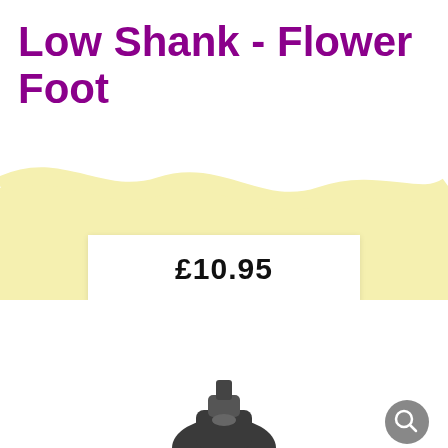Low Shank - Flower Foot
£10.95
[Figure (photo): Product photo of a sewing machine presser foot (Low Shank Flower Foot), metal, dark grey/black, partially visible at the bottom of the page. A circular grey search/zoom button is visible in the lower right corner.]